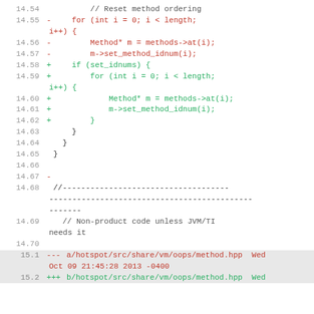Code diff showing method ordering reset logic, lines 14.54–15.2